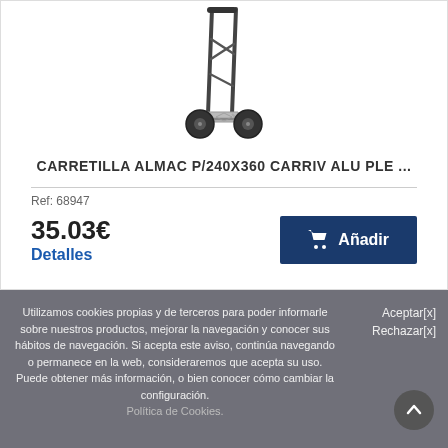[Figure (photo): Product photo of a folding hand truck / sack truck with aluminum frame and black wheels against a white background.]
CARRETILLA ALMAC P/240X360 CARRIV ALU PLE ...
Ref: 68947
35.03€
Detalles
🛒  Añadir
Utilizamos cookies propias y de terceros para poder informarle sobre nuestros productos, mejorar la navegación y conocer sus hábitos de navegación. Si acepta este aviso, continúa navegando o permanece en la web, consideraremos que acepta su uso. Puede obtener más información, o bien conocer cómo cambiar la configuración.
Política de Cookies.
Aceptar[x]
Rechazar[x]